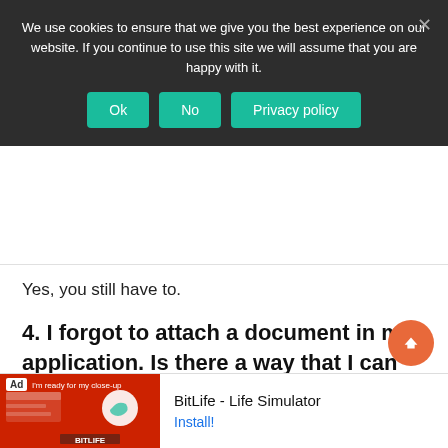We use cookies to ensure that we give you the best experience on our website. If you continue to use this site we will assume that you are happy with it.
Yes, you still have to.
4. I forgot to attach a document in my application. Is there a way that I can send them after I have already submitted my application?
[Figure (screenshot): Advertisement bar at bottom: BitLife - Life Simulator app ad with red background image and Install button]